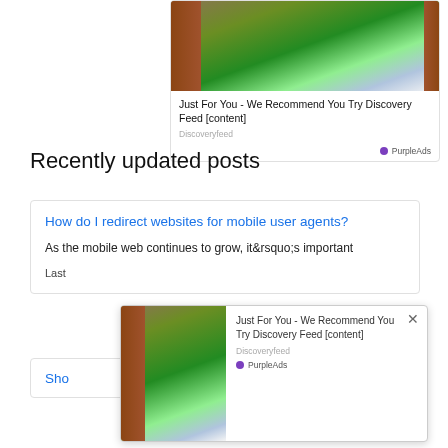[Figure (photo): Ad card with image of door opening to mountain valley landscape. Title: Just For You - We Recommend You Try Discovery Feed [content]. Source: Discoveryfeed. Badge: PurpleAds]
Recently updated posts
[Figure (screenshot): Post card: How do I redirect websites for mobile user agents? As the mobile web continues to grow, it&rsquo;s important. Last...]
[Figure (screenshot): Popup overlay ad card with mountain image, title: Just For You - We Recommend You Try Discovery Feed [content], source: Discoveryfeed, badge: PurpleAds, close X button]
Sho...